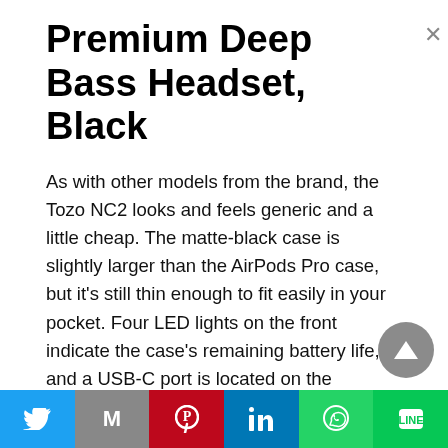Premium Deep Bass Headset, Black
As with other models from the brand, the Tozo NC2 looks and feels generic and a little cheap. The matte-black case is slightly larger than the AirPods Pro case, but it’s still thin enough to fit easily in your pocket. Four LED lights on the front indicate the case’s remaining battery life, and a USB-C port is located on the bottom. Additionally, you can charge the case wirelessly.